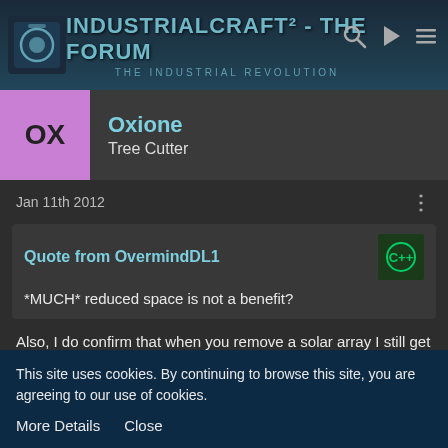IndustrialCraft² - The Forum | The Industrial Revolution
Oxione
Tree Cutter
Jan 11th 2012
Quote from OvermindDL1
*MUCH* reduced space is not a benefit?
Also, I do confirm that when you remove a solar array I still get power produced by it, although it is not there. Pretty sure that it is not using super remove
This site uses cookies. By continuing to browse this site, you are agreeing to our use of cookies.
More Details   Close